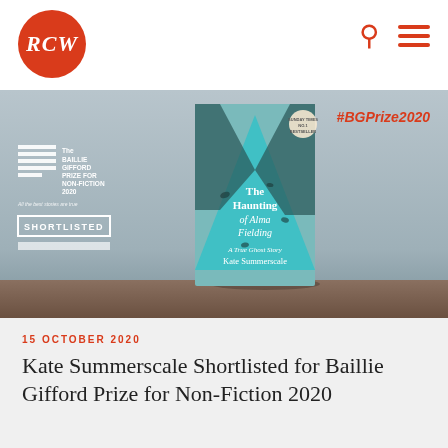RCW
[Figure (photo): Book cover of 'The Haunting of Alma Fielding' by Kate Summerscale, with Baillie Gifford Prize for Non-Fiction 2020 Shortlisted badge and #BGPrize2020 hashtag on a grey background]
15 OCTOBER 2020
Kate Summerscale Shortlisted for Baillie Gifford Prize for Non-Fiction 2020